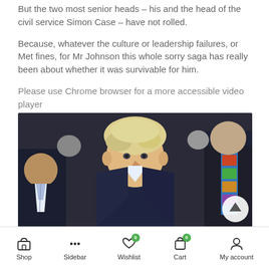But the two most senior heads – his and the head of the civil service Simon Case – have not rolled.
Because, whatever the culture or leadership failures, or Met fines, for Mr Johnson this whole sorry saga has really been about whether it was survivable for him.
Please use Chrome browser for a more accessible video player
[Figure (photo): Photo of Boris Johnson speaking, with other people visible behind him, one wearing a colorful tie on the right side]
Shop  Sidebar  Wishlist 0  Cart 0  My account